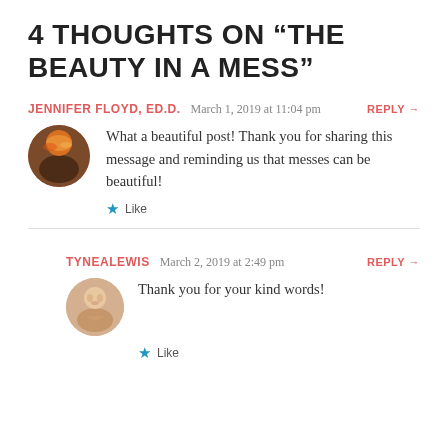4 THOUGHTS ON “THE BEAUTY IN A MESS”
JENNIFER FLOYD, ED.D.   March 1, 2019 at 11:04 pm   REPLY →
What a beautiful post! Thank you for sharing this message and reminding us that messes can be beautiful!
★ Like
TYNEALEWIS   March 2, 2019 at 2:49 pm   REPLY →
Thank you for your kind words!
★ Like